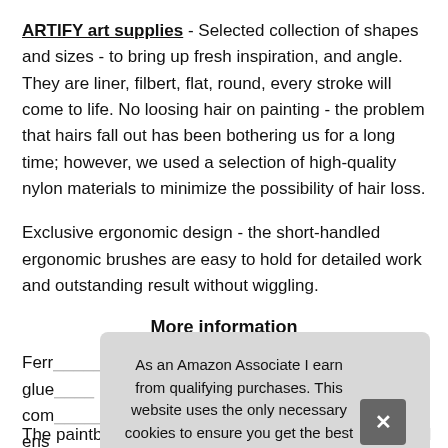ARTIFY art supplies - Selected collection of shapes and sizes - to bring up fresh inspiration, and angle. They are liner, filbert, flat, round, every stroke will come to life. No loosing hair on painting - the problem that hairs fall out has been bothering us for a long time; however, we used a selection of high-quality nylon materials to minimize the possibility of hair loss.
Exclusive ergonomic design - the short-handled ergonomic brushes are easy to hold for detailed work and outstanding result without wiggling.
More information
Ferr... glue... com... ens...
As an Amazon Associate I earn from qualifying purchases. This website uses the only necessary cookies to ensure you get the best experience on our website. More information
The paintbrush set could satisfy you whatever detailed